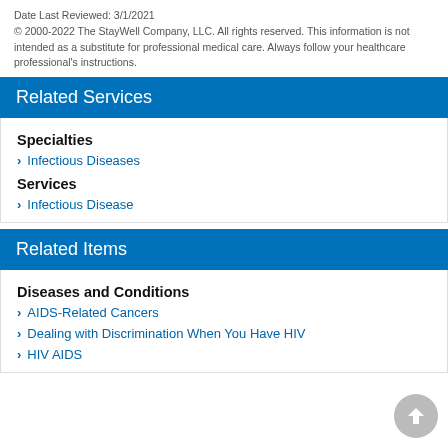Date Last Reviewed: 3/1/2021
© 2000-2022 The StayWell Company, LLC. All rights reserved. This information is not intended as a substitute for professional medical care. Always follow your healthcare professional's instructions.
Related Services
Specialties
Infectious Diseases
Services
Infectious Disease
Related Items
Diseases and Conditions
AIDS-Related Cancers
Dealing with Discrimination When You Have HIV
HIV AIDS